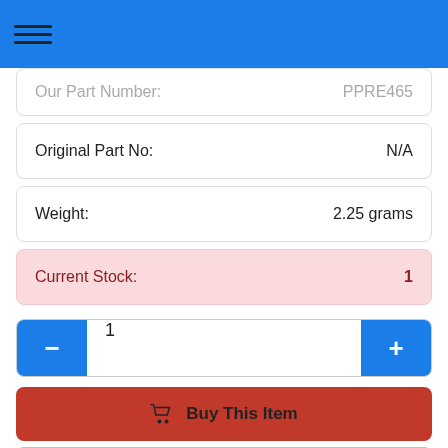Our Part Number: PPRE465
Original Part No: N/A
Weight: 2.25 grams
Current Stock: 1
Quantity: 1
Buy This Item
Add to Favourites